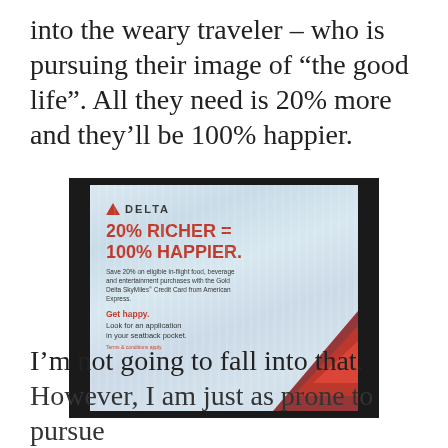into the weary traveler – who is pursuing their image of “the good life”. All they need is 20% more and they’ll be 100% happier.
[Figure (photo): A photograph of a Delta Airlines napkin advertising '20% RICHER = 100% HAPPIER.' with Delta SkyMiles credit card promotion. Text includes: Save 20% on eligible in-flight food, beverage and entertainment purchases with the Gold Delta SkyMiles Credit Card from American Express. Get happy. Look for an application in your seatback pocket. Terms & conditions apply.]
I’m not going to fall into that. However, I am just as prone to pursue